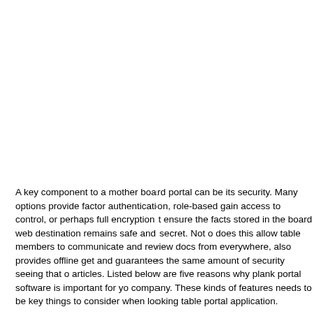A key component to a mother board portal can be its security. Many options provide factor authentication, role-based gain access to control, or perhaps full encryption to ensure the facts stored in the board web destination remains safe and secret. Not only does this allow table members to communicate and review docs from everywhere, it also provides offline get and guarantees the same amount of security seeing that online articles. Listed below are five reasons why plank portal software is important for your company. These kinds of features needs to be key things to consider when looking for a table portal application.